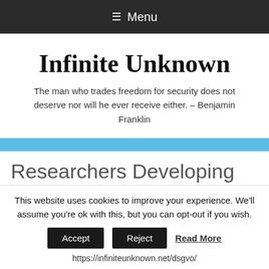≡ Menu
Infinite Unknown
The man who trades freedom for security does not deserve nor will he ever receive either. – Benjamin Franklin
Researchers Developing New
This website uses cookies to improve your experience. We'll assume you're ok with this, but you can opt-out if you wish.
Accept   Reject   Read More
https://infiniteunknown.net/dsgvo/